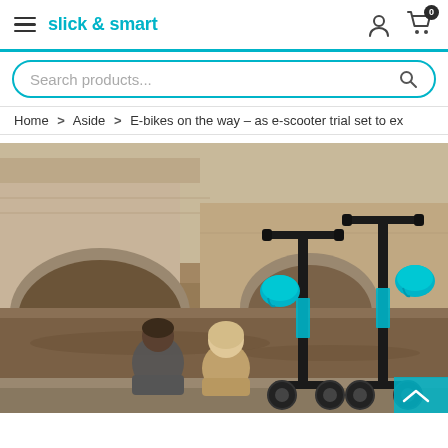slick & smart — navigation header with hamburger menu, user icon, and cart (0 items)
Search products...
Home > Aside > E-bikes on the way – as e-scooter trial set to exp
[Figure (photo): Two people sitting on a riverside ledge viewed from behind, next to two black TIER brand electric scooters with teal/turquoise helmets hanging from the handlebars, with a stone arch bridge in the background over a river.]